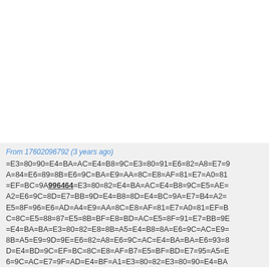From 17602096792 (3 years ago)
=E3=80=90=E4=BA=AC=E4=B8=9C=E3=80=91=E6=82=A8=E7=9A=84=E6=89=8B=E6=9C=BA=E9=AA=8C=C=E8=AF=81=E7=A0=81=EF=BC=9A996464=E3=80=82=E4=BA=AC=E4=B8=9C=E5=AE=A2=E6=9C=8D=E7=BB=9D=E4=B8=8D=E4=BC=9A=E7=B4=A2=E5=8F=96=E6=AD=A4=E9=AA=8C=E8=AF=81=E7=A0=81=EF=BC=8C=E5=88=87=E5=8B=BF=E8=BD=AC=E5=8F=91=E7=BB=9E=E4=BA=BA=E3=80=82=E8=8B=A5=E4=B8=8A=E6=9C=AC=E6=9C=AC=E9=9D=9E=E6=82=A8=E6=9C=AC=E4=BA=BA=E6=93=8D=E4=BD=9C=EF=BC=8C=E8=AF=B7=E5=BF=BD=E7=95=A5=E6=9C=AC=E7=9F=AD=E4=BF=A1=E3=80=82=E3=80=90=E4=BA=BA